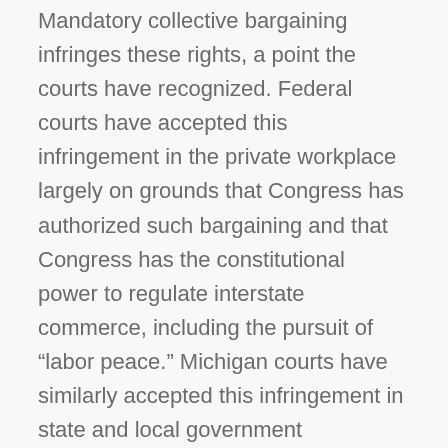Mandatory collective bargaining infringes these rights, a point the courts have recognized. Federal courts have accepted this infringement in the private workplace largely on grounds that Congress has authorized such bargaining and that Congress has the constitutional power to regulate interstate commerce, including the pursuit of “labor peace.” Michigan courts have similarly accepted this infringement in state and local government workplaces on grounds that the state Legislature has the power to pursue labor peace in Michigan government.
There is debate over just how readily governments may infringe personal rights in the workplace; freedom of association is protected by the First Amendment, after all. Regardless, both state and federal courts